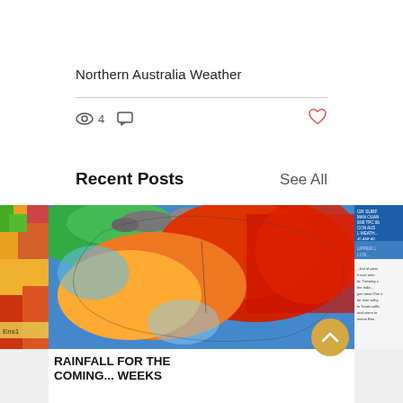Northern Australia Weather
4 views  0 comments  Like
Recent Posts
See All
[Figure (photo): Left partial weather/satellite image card]
[Figure (map): Central weather map of Australia showing temperature/rainfall forecast with color gradient from green (north) to red (hot inland areas) and blue (ocean). Title text below: RAINFALL FOR THE COMING... WEEKS]
[Figure (photo): Right partial text/weather post card with blue header and text content]
RAINFALL FOR THE COMING... WEEKS